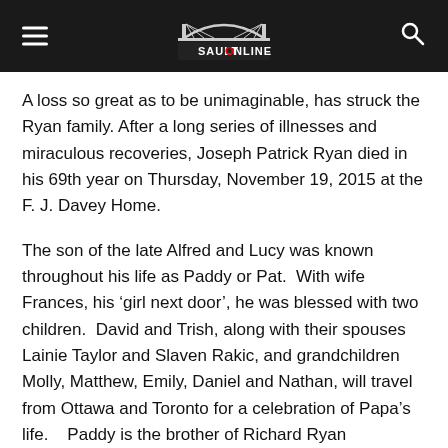SAULT ONLINE (header with logo, hamburger menu, search icon)
A loss so great as to be unimaginable, has struck the Ryan family. After a long series of illnesses and miraculous recoveries, Joseph Patrick Ryan died in his 69th year on Thursday, November 19, 2015 at the F. J. Davey Home.
The son of the late Alfred and Lucy was known throughout his life as Paddy or Pat.  With wife Frances, his ‘girl next door’, he was blessed with two children.  David and Trish, along with their spouses Lainie Taylor and Slaven Rakic, and grandchildren Molly, Matthew, Emily, Daniel and Nathan, will travel from Ottawa and Toronto for a celebration of Papa’s life.   Paddy is the brother of Richard Ryan (deceased), Frank Ryan and Veronica Rousselle, and brother-in-law of their spouses Mary, Laurie and Bob.  His brother-in-law Al Kelly will miss him greatly and many aunts, uncles, nieces